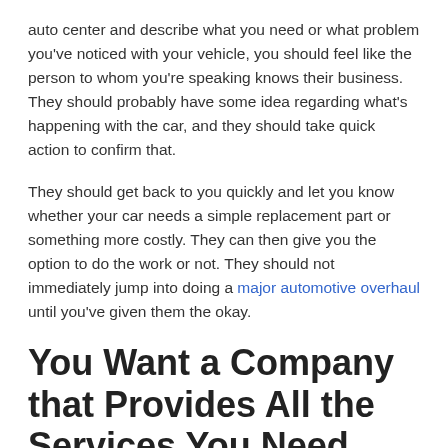auto center and describe what you need or what problem you've noticed with your vehicle, you should feel like the person to whom you're speaking knows their business. They should probably have some idea regarding what's happening with the car, and they should take quick action to confirm that.
They should get back to you quickly and let you know whether your car needs a simple replacement part or something more costly. They can then give you the option to do the work or not. They should not immediately jump into doing a major automotive overhaul until you've given them the okay.
You Want a Company that Provides All the Services You Need